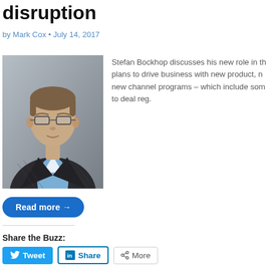disruption
by Mark Cox • July 14, 2017
[Figure (photo): Headshot photo of Stefan Bockhop, a man wearing glasses, a dark pinstripe suit jacket and a light blue shirt, against a grey background.]
Stefan Bockhop discusses his new role in the plans to drive business with new product, n new channel programs – which include som to deal reg.
Read more →
Share the Buzz:
Tweet
Share
More